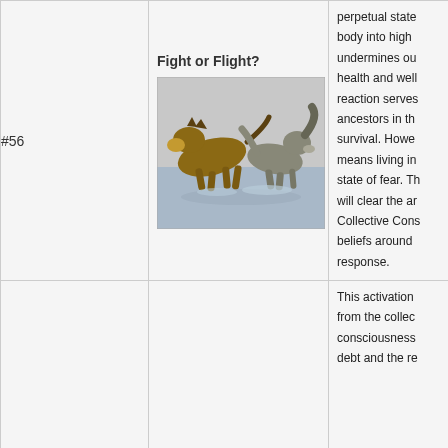#56
Fight or Flight?
[Figure (photo): Two dogs playing or fighting in water — a German Shepherd lunging at a Spaniel-type dog that is reacting with raised paw and ear flipped up.]
perpetual state body into high undermines ou health and well reaction serves ancestors in th survival. Howe means living in state of fear. Th will clear the ar Collective Cons beliefs around response.
This activation from the collec consciousness  debt and the re